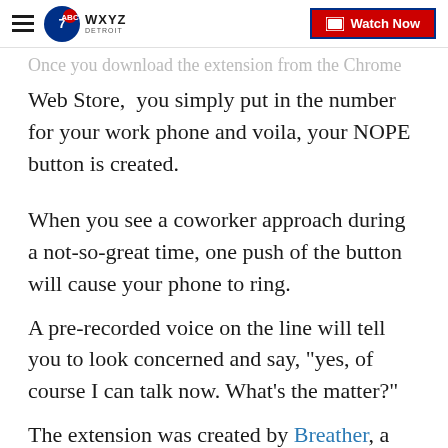WXYZ Detroit | Watch Now
Once you download the extension from the Chrome Web Store,  you simply put in the number for your work phone and voila, your NOPE button is created.
When you see a coworker approach during a not-so-great time, one push of the button will cause your phone to ring.
A pre-recorded voice on the line will tell you to look concerned and say, "yes, of course I can talk now. What's the matter?"
The extension was created by Breather, a company that offers people spaces to rent for working away from the